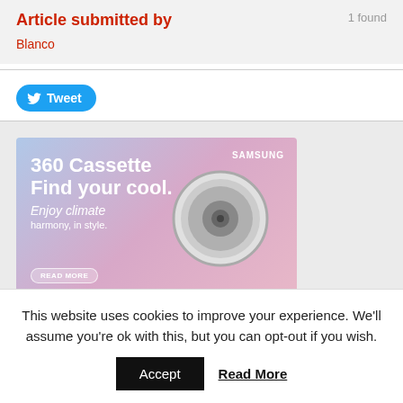Article submitted by
1 found
Blanco
[Figure (screenshot): Samsung 360 Cassette advertisement: '360 Cassette Find your cool. Enjoy climate harmony, in style.' with a round cassette unit image and READ MORE button]
[Figure (logo): The decorative panels group logo on grey background]
This website uses cookies to improve your experience. We'll assume you're ok with this, but you can opt-out if you wish.
Accept
Read More